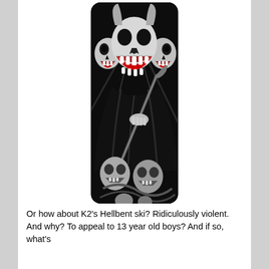[Figure (illustration): K2 Hellbent ski with dark artwork featuring a demonic grim reaper figure with multiple skull heads including horned skulls with open red mouths, holding a scythe, dressed in a dark robe, with additional skulls and dark imagery at the bottom. Black and white with red accents.]
Or how about K2's Hellbent ski? Ridiculously violent. And why? To appeal to 13 year old boys? And if so, what's